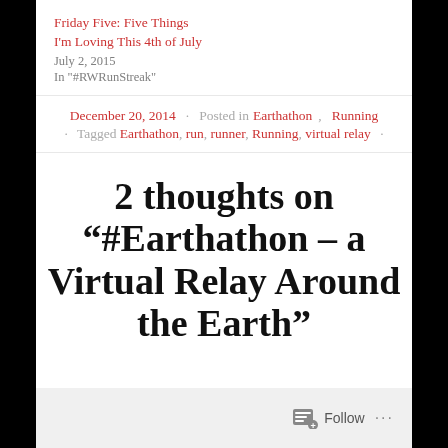Friday Five: Five Things I'm Loving This 4th of July
July 2, 2015
In "#RWRunStreak"
December 20, 2014 · Posted in Earthathon, Running · Tagged Earthathon, run, runner, Running, virtual relay ·
2 thoughts on “#Earthathon – a Virtual Relay Around the Earth”
Follow